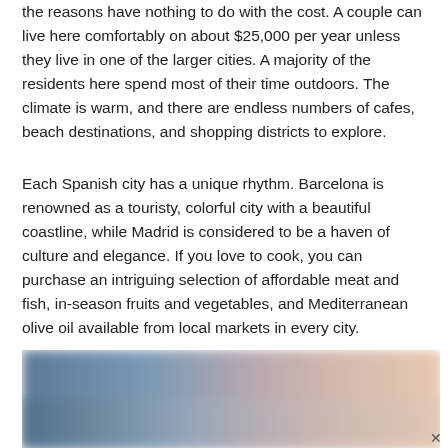the reasons have nothing to do with the cost. A couple can live here comfortably on about $25,000 per year unless they live in one of the larger cities. A majority of the residents here spend most of their time outdoors. The climate is warm, and there are endless numbers of cafes, beach destinations, and shopping districts to explore.
Each Spanish city has a unique rhythm. Barcelona is renowned as a touristy, colorful city with a beautiful coastline, while Madrid is considered to be a haven of culture and elegance. If you love to cook, you can purchase an intriguing selection of affordable meat and fish, in-season fruits and vegetables, and Mediterranean olive oil available from local markets in every city.
[Figure (photo): A blurred gradient photo showing hues of blue-grey on the left blending into warm pink/peach tones on the right, likely a coastal or landscape scene.]